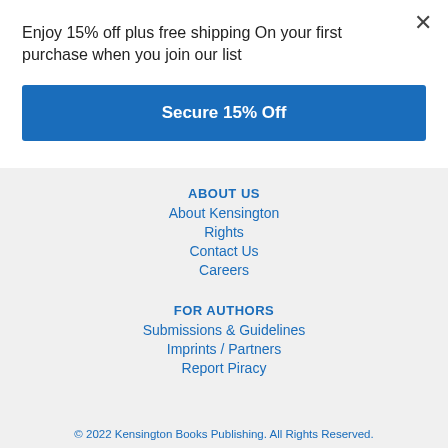Enjoy 15% off plus free shipping On your first purchase when you join our list
Secure 15% Off
ABOUT US
About Kensington
Rights
Contact Us
Careers
FOR AUTHORS
Submissions & Guidelines
Imprints / Partners
Report Piracy
© 2022 Kensington Books Publishing. All Rights Reserved.